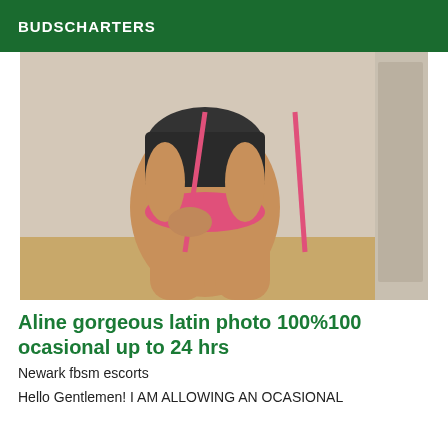BUDSCHARTERS
[Figure (photo): Photo of a woman in black and pink outfit standing in a room with wood floor]
Aline gorgeous latin photo 100%100 ocasional up to 24 hrs
Newark fbsm escorts
Hello Gentlemen! I AM ALLOWING AN OCASIONAL